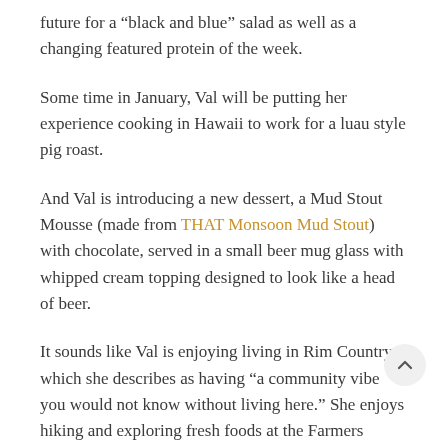future for a “black and blue” salad as well as a changing featured protein of the week.
Some time in January, Val will be putting her experience cooking in Hawaii to work for a luau style pig roast.
And Val is introducing a new dessert, a Mud Stout Mousse (made from THAT Monsoon Mud Stout) with chocolate, served in a small beer mug glass with whipped cream topping designed to look like a head of beer.
It sounds like Val is enjoying living in Rim Country, which she describes as having “a community vibe you would not know without living here.” She enjoys hiking and exploring fresh foods at the Farmers Market in Payson.
We enjoyed getting to know Val, and when you stop in for a meal at the Pub in Pine, you will enjoy getting to know her food.
And we want to offer a shout out to THAT friend and loyal